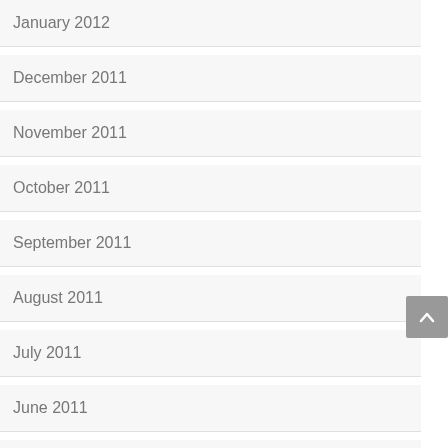January 2012
December 2011
November 2011
October 2011
September 2011
August 2011
July 2011
June 2011
May 2011